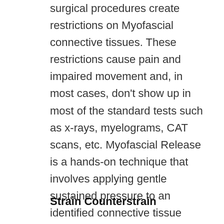surgical procedures create restrictions on Myofascial connective tissues. These restrictions cause pain and impaired movement and, in most cases, don't show up in most of the standard tests such as x-rays, myelograms, CAT scans, etc. Myofascial Release is a hands-on technique that involves applying gentle sustained pressure to an identified connective tissue restriction to eliminate pain and restore motion.
Strain Counterstrain